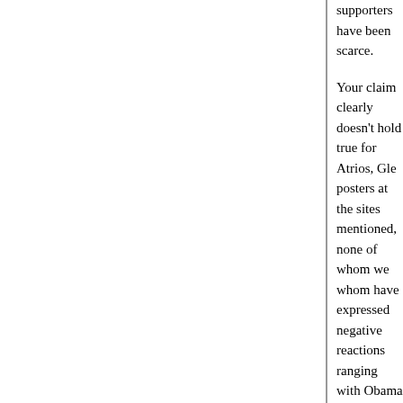supporters have been scarce.
Your claim clearly doesn't hold true for Atrios, Gle... posters at the sites mentioned, none of whom we... whom have expressed negative reactions ranging... with Obama (Hilzoy) to disgust and outrage (the n... reaction has to do with the substance of the issue... the politics, the negative reaction has to do with t... how the party is going to conduct itself in the com... years.
The perception that the reaction to this has much... politics at all is just odd, unless you've been doing... that were heavily supporting Sen. Clinton during t... seems unlikely, since you're fairly clearly an Oba...
The primary season has been over since the first... technical FEC sense). Let it go.
Posted by: Nell | June 21, 2008 at 01:03 PM
Nell:
Hell, Atrios even named Obama his coveted Wan... bet it wasn't an easy thing to do for him.